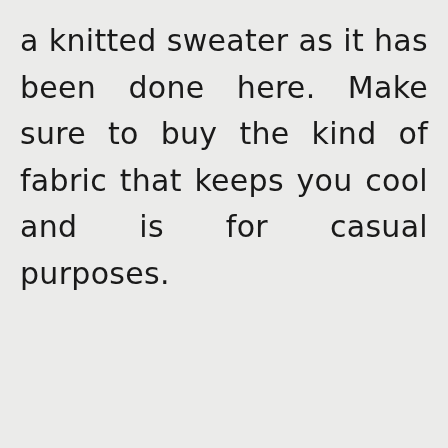a knitted sweater as it has been done here. Make sure to buy the kind of fabric that keeps you cool and is for casual purposes.